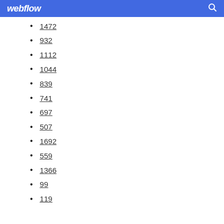webflow
1472
932
1112
1044
839
741
697
507
1692
559
1366
99
119